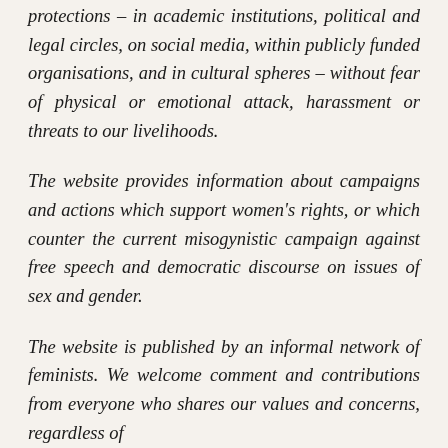protections – in academic institutions, political and legal circles, on social media, within publicly funded organisations, and in cultural spheres – without fear of physical or emotional attack, harassment or threats to our livelihoods.
The website provides information about campaigns and actions which support women's rights, or which counter the current misogynistic campaign against free speech and democratic discourse on issues of sex and gender.
The website is published by an informal network of feminists. We welcome comment and contributions from everyone who shares our values and concerns, regardless of